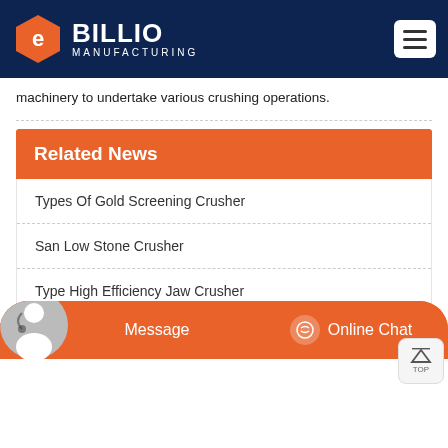[Figure (logo): Billio Manufacturing logo with orange hexagon icon and white text on dark navy header background, with hamburger menu icon on right]
machinery to undertake various crushing operations.
Related News
Types Of Gold Screening Crusher
San Low Stone Crusher
Type High Efficiency Jaw Crusher
High Efficiency Bar Mill
Message   Online Chat